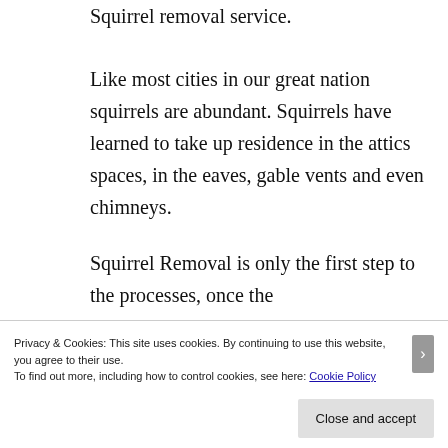Squirrel removal service. Like most cities in our great nation squirrels are abundant. Squirrels have learned to take up residence in the attics spaces, in the eaves, gable vents and even chimneys.
Squirrel Removal is only the first step to the processes, once the
Privacy & Cookies: This site uses cookies. By continuing to use this website, you agree to their use.
To find out more, including how to control cookies, see here: Cookie Policy
Close and accept